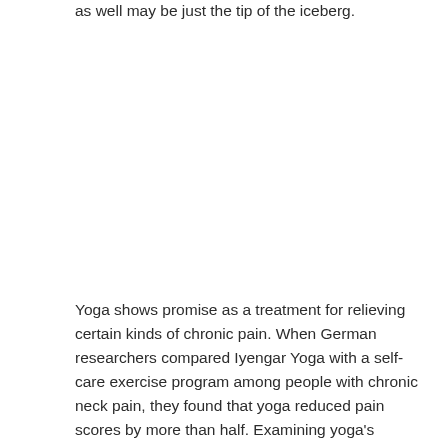as well may be just the tip of the iceberg.
Yoga shows promise as a treatment for relieving certain kinds of chronic pain. When German researchers compared Iyengar Yoga with a self-care exercise program among people with chronic neck pain, they found that yoga reduced pain scores by more than half. Examining yoga's effects